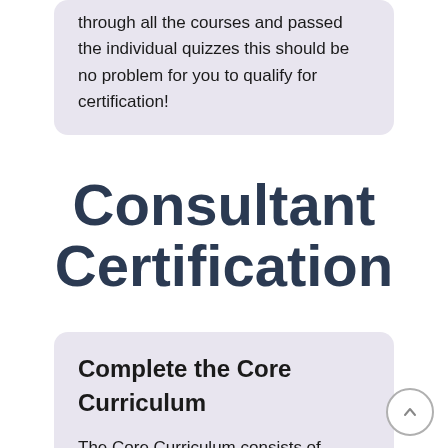through all the courses and passed the individual quizzes this should be no problem for you to qualify for certification!
Consultant Certification
Complete the Core Curriculum
The Core Curriculum consists of